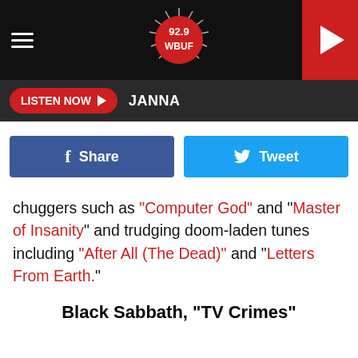92.9 WBUF — LISTEN NOW — JANNA
[Figure (screenshot): 92.9 WBUF radio station logo in white on black background with hamburger menu and red play button]
LISTEN NOW ▶  JANNA
[Figure (screenshot): Facebook Share button and Twitter Tweet button]
chuggers such as "Computer God" and "Master of Insanity" and trudging doom-laden tunes including "After All (The Dead)" and "Letters From Earth."
Black Sabbath, "TV Crimes"